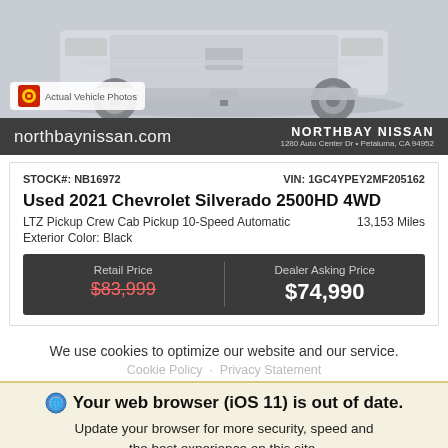[Figure (photo): Rear view of a Chevrolet Silverado 2500HD truck in light grey, shown from behind. An 'Actual Vehicle Photos' badge is visible in the lower left of the image.]
northbaynissan.com
NORTHBAY NISSAN
1280 Auto Center Dr • Petaluma, CA 94952
STOCK#: NB16972
VIN: 1GC4YPEY2MF205162
Used 2021 Chevrolet Silverado 2500HD 4WD
LTZ Pickup Crew Cab Pickup 10-Speed Automatic
13,153 Miles
Exterior Color: Black
| Retail Price | Dealer Asking Price |
| --- | --- |
| $83,999 | $74,990 |
We use cookies to optimize our website and our service.
Cookie Policy   Privacy Statement
🌐 Your web browser (iOS 11) is out of date.
Update your browser for more security, speed and the best experience on this site.
Update browser   Ignore